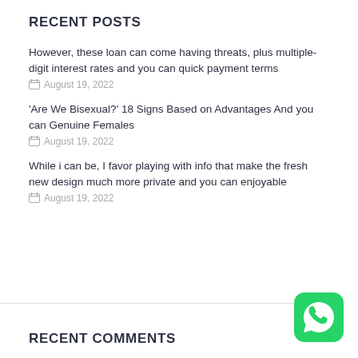RECENT POSTS
However, these loan can come having threats, plus multiple-digit interest rates and you can quick payment terms
August 19, 2022
'Are We Bisexual?' 18 Signs Based on Advantages And you can Genuine Females
August 19, 2022
While i can be, I favor playing with info that make the fresh new design much more private and you can enjoyable
August 19, 2022
RECENT COMMENTS
[Figure (logo): WhatsApp green rounded square icon with white phone/chat logo]